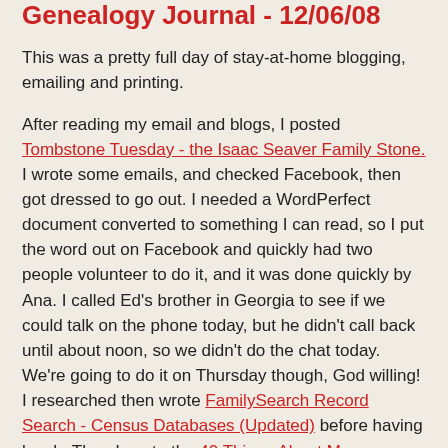Genealogy Journal - 12/06/08
This was a pretty full day of stay-at-home blogging, emailing and printing.
After reading my email and blogs, I posted Tombstone Tuesday - the Isaac Seaver Family Stone. I wrote some emails, and checked Facebook, then got dressed to go out. I needed a WordPerfect document converted to something I can read, so I put the word out on Facebook and quickly had two people volunteer to do it, and it was done quickly by Ana. I called Ed's brother in Georgia to see if we could talk on the phone today, but he didn't call back until about noon, so we didn't do the chat today. We're going to do it on Thursday though, God willing! I researched then wrote FamilySearch Record Search - Census Databases (Updated) before having lunch. Then I wrote the 40 Things About Me meme but scheduled it to post later in the day.
The CVGS holiday luncheon is on Wednesday, so I printed up the programs and my speeches. I still need to do some certificates. Although we're not having a Research Group on